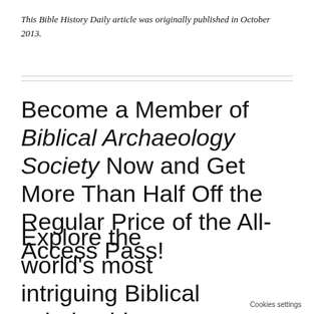This Bible History Daily article was originally published in October 2013.
Become a Member of Biblical Archaeology Society Now and Get More Than Half Off the Regular Price of the All-Access Pass!
Explore the world’s most intriguing Biblical scholarship
Cookies settings